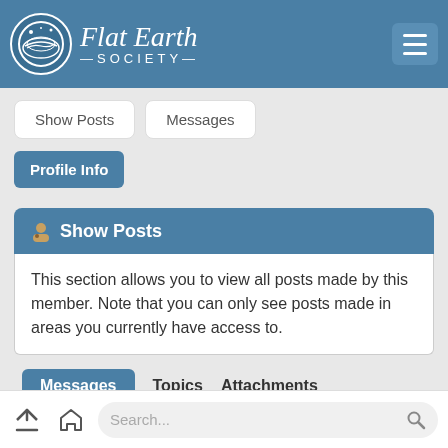Flat Earth Society
Show Posts	Messages
Profile Info
Show Posts
This section allows you to view all posts made by this member. Note that you can only see posts made in areas you currently have access to.
Messages  Topics  Attachments
Messages - Clyde Frog
Pages: [1] 2 3 ... 9 Next >